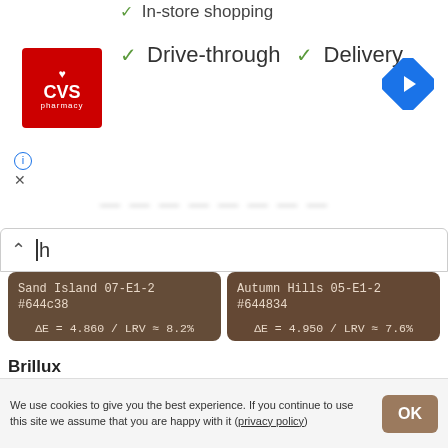[Figure (screenshot): Top portion of a webpage showing CVS Pharmacy listing with in-store shopping, drive-through, and delivery options. Contains CVS pharmacy logo, navigation arrow icon, info/close icons, and partially visible store details.]
In-store shopping
✓ Drive-through  ✓ Delivery
| Sand Island 07-E1-2 | Autumn Hills 05-E1-2 |
| #644c38 | #644834 |
| ΔE = 4.860 / LRV ≈ 8.2% | ΔE = 4.950 / LRV ≈ 7.6% |
Brillux
| 18.09.25 |  |
| #6f4b3b |  |
| ΔE = 4.930 / LRV ≈ 8.7% |  |
Dulux Australia
| Brazillian Bean / I21 | Iron Brown / G42 |
| #6e5242 | #735444 |
| ΔE ≈ 4.865 / LRV ≈ 8.7% | ΔE ≈ 5.086 / LRV ≈ 10.4% |
We use cookies to give you the best experience. If you continue to use this site we assume that you are happy with it (privacy policy)